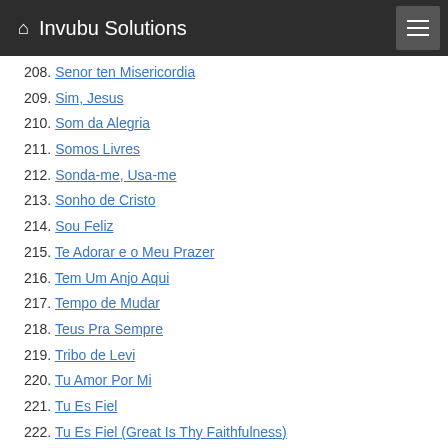Invubu Solutions
208. Senor ten Misericordia
209. Sim, Jesus
210. Som da Alegria
211. Somos Livres
212. Sonda-me, Usa-me
213. Sonho de Cristo
214. Sou Feliz
215. Te Adorar e o Meu Prazer
216. Tem Um Anjo Aqui
217. Tempo de Mudar
218. Teus Pra Sempre
219. Tribo de Levi
220. Tu Amor Por Mi
221. Tu Es Fiel
222. Tu Es Fiel (Great Is Thy Faithfulness)
223. Tu Has Cambiado Mi Lamento
224. Tua Palavra
225. Tudo e Diferente (Now That You're Near)